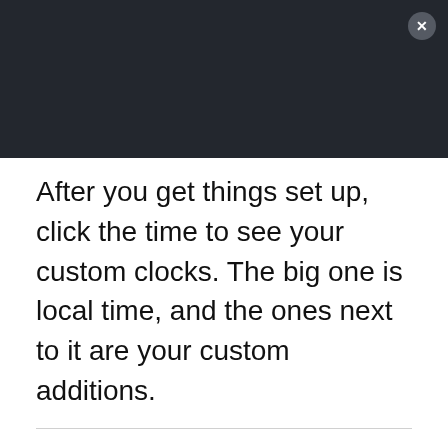[Figure (screenshot): Dark header bar with close button (X) in top-right corner]
After you get things set up, click the time to see your custom clocks. The big one is local time, and the ones next to it are your custom additions.